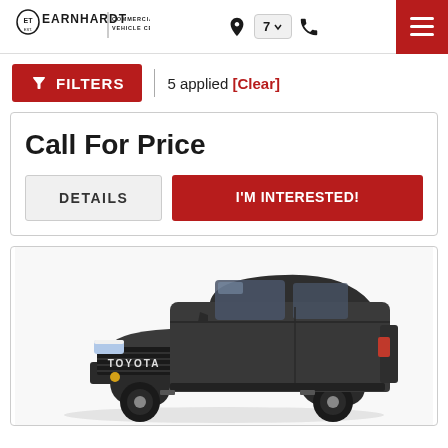EARNHARDT | COMMERCIAL VEHICLE CENTER
5 applied [Clear]
Call For Price
DETAILS | I'M INTERESTED!
[Figure (photo): Dark gray Toyota Tundra pickup truck shown from a front three-quarter angle]